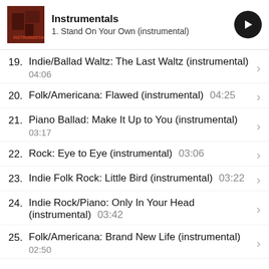Instrumentals — 1. Stand On Your Own (instrumental)
19. Indie/Ballad Waltz: The Last Waltz (instrumental) 04:06
20. Folk/Americana: Flawed (instrumental) 04:25
21. Piano Ballad: Make It Up to You (instrumental) 03:17
22. Rock: Eye to Eye (instrumental) 03:06
23. Indie Folk Rock: Little Bird (instrumental) 03:22
24. Indie Rock/Piano: Only In Your Head (instrumental) 03:42
25. Folk/Americana: Brand New Life (instrumental) 02:50